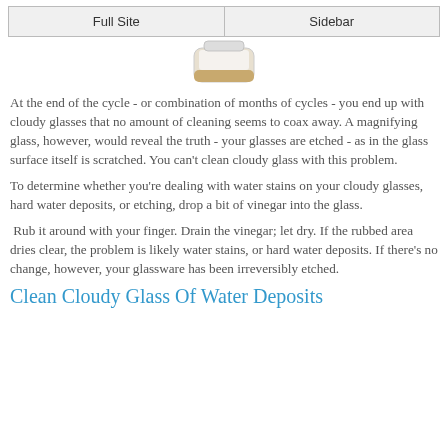Full Site | Sidebar
[Figure (photo): Partial view of a white and tan container/bottle product]
At the end of the cycle - or combination of months of cycles - you end up with cloudy glasses that no amount of cleaning seems to coax away. A magnifying glass, however, would reveal the truth - your glasses are etched - as in the glass surface itself is scratched. You can't clean cloudy glass with this problem.
To determine whether you're dealing with water stains on your cloudy glasses, hard water deposits, or etching, drop a bit of vinegar into the glass.
Rub it around with your finger. Drain the vinegar; let dry. If the rubbed area dries clear, the problem is likely water stains, or hard water deposits. If there's no change, however, your glassware has been irreversibly etched.
Clean Cloudy Glass Of Water Deposits